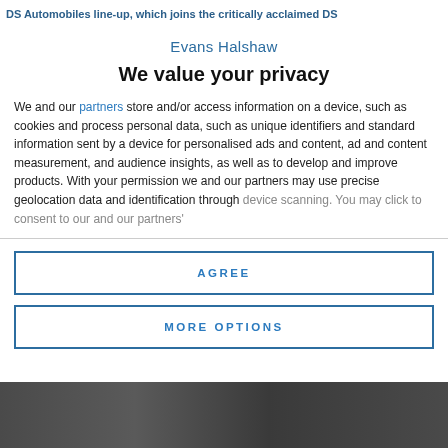DS Automobiles line-up, which joins the critically acclaimed DS
Evans Halshaw
We value your privacy
We and our partners store and/or access information on a device, such as cookies and process personal data, such as unique identifiers and standard information sent by a device for personalised ads and content, ad and content measurement, and audience insights, as well as to develop and improve products. With your permission we and our partners may use precise geolocation data and identification through device scanning. You may click to consent to our and our partners'
AGREE
MORE OPTIONS
[Figure (photo): Dark photo strip at the bottom of the page, appears to be a car or vehicle image]